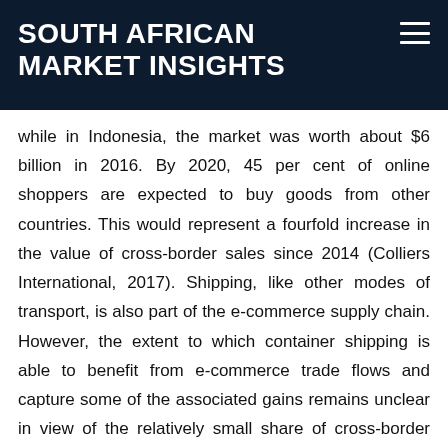SOUTH AFRICAN MARKET INSIGHTS
while in Indonesia, the market was worth about $6 billion in 2016. By 2020, 45 per cent of online shoppers are expected to buy goods from other countries. This would represent a fourfold increase in the value of cross-border sales since 2014 (Colliers International, 2017). Shipping, like other modes of transport, is also part of the e-commerce supply chain. However, the extent to which container shipping is able to benefit from e-commerce trade flows and capture some of the associated gains remains unclear in view of the relatively small share of cross-border business-to-consumer e-commerce flows and the participation of alternative mo[des. The sp]eed of air transport favourably pos[itions it as a bette]r fit for e-commerce